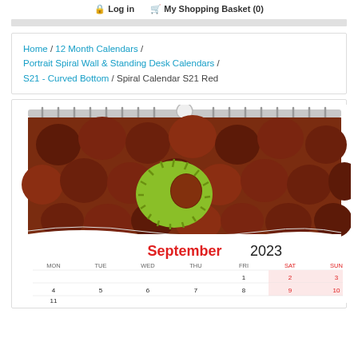Log in   My Shopping Basket (0)
Home / 12 Month Calendars / Portrait Spiral Wall & Standing Desk Calendars / S21 - Curved Bottom / Spiral Calendar S21 Red
[Figure (photo): A product page screenshot showing a spiral wall calendar (S21 Red) with a photo of chestnuts including an open spiky green chestnut case, with September 2023 calendar grid below showing MON-SUN columns with red SAT/SUN headers and shaded weekend cells.]